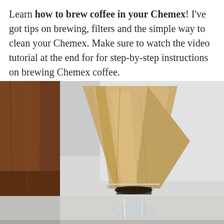Learn how to brew coffee in your Chemex! I've got tips on brewing, filters and the simple way to clean your Chemex. Make sure to watch the video tutorial at the end for for step-by-step instructions on brewing Chemex coffee.
[Figure (photo): Close-up photo of a Chemex coffee maker with an unbleached paper filter inserted into the glass funnel top, with dark coffee visible. A wooden background is on the left side, and the bottom portion shows the lower glass body of the Chemex on a white/grey background.]